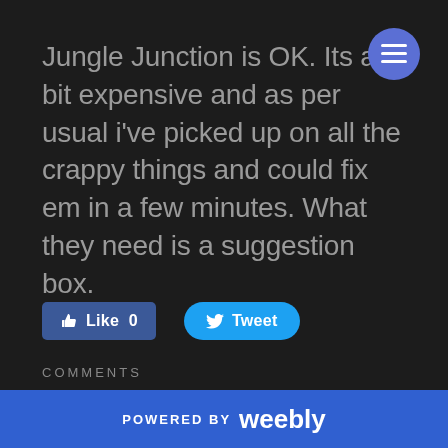Jungle Junction is OK. Its a bit expensive and as per usual i've picked up on all the crappy things and could fix em in a few minutes. What they need is a suggestion box.
[Figure (other): Social buttons: Facebook Like 0 button and Twitter Tweet button]
COMMENTS
21/2/2012
Mostly Done....
POWERED BY weebly